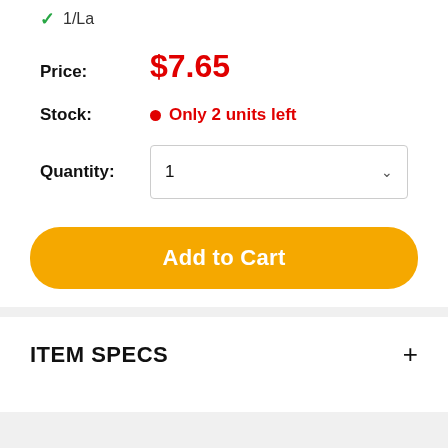1/La
Price: $7.65
Stock: Only 2 units left
Quantity: 1
Add to Cart
ITEM SPECS